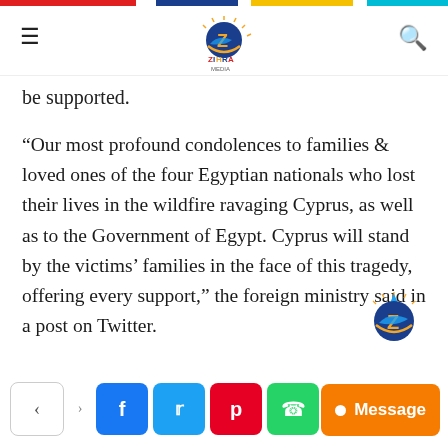[Figure (logo): Zihra Media logo — orange/blue Z with sun rays and text ZIHRA MEDIA]
be supported.
“Our most profound condolences to families & loved ones of the four Egyptian nationals who lost their lives in the wildfire ravaging Cyprus, as well as to the Government of Egypt. Cyprus will stand by the victims’ families in the face of this tragedy, offering every support,” the foreign ministry said in a post on Twitter.
[Figure (logo): Zihra Media watermark logo — small version bottom right]
Social share buttons: share, Facebook, Twitter, Pinterest, WhatsApp, Message